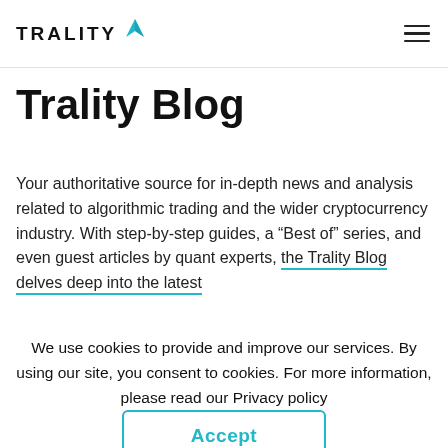TRALITY
Trality Blog
Your authoritative source for in-depth news and analysis related to algorithmic trading and the wider cryptocurrency industry. With step-by-step guides, a “Best of” series, and even guest articles by quant experts, the Trality Blog delves deep into the latest
We use cookies to provide and improve our services. By using our site, you consent to cookies. For more information, please read our Privacy policy
Accept